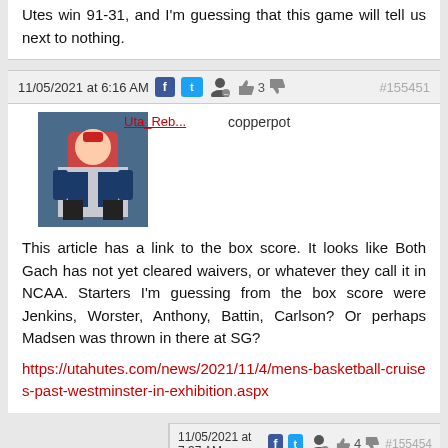Utes win 91-31, and I'm guessing that this game will tell us next to nothing.
11/05/2021 at 6:16 AM  👍 3  #155451
[Figure (photo): User avatar photo of a football player crouching]
Uta_Reb... copperpot
This article has a link to the box score. It looks like Both Gach has not yet cleared waivers, or whatever they call it in NCAA. Starters I'm guessing from the box score were Jenkins, Worster, Anthony, Battin, Carlson? Or perhaps Madsen was thrown in there at SG?
https://utahutes.com/news/2021/11/4/mens-basketball-cruises-past-westminster-in-exhibition.aspx
11/05/2021 at 7:37 AM  👍 4  #155454
[Figure (photo): User avatar photo, person in office shirt]
GameFastAnyFuss... anyfuss